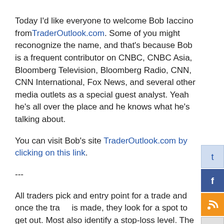Today I'd like everyone to welcome Bob Iaccino from TraderOutlook.com. Some of you might reconognize the name, and that's because Bob is a frequent contributor on CNBC, CNBC Asia, Bloomberg Television, Bloomberg Radio, CNN, CNN International, Fox News, and several other media outlets as a special guest analyst. Yeah he's all over the place and he knows what he's talking about.
You can visit Bob's site TraderOutlook.com by clicking on this link.
---
All traders pick and entry point for a trade and once the trade is made, they look for a spot to get out. Most also identify a stop-loss level. The good traders have a target level they are looking to exit at, or a time frame in which to take the trade off. Not many however, use "2-target trades" very regularly. We use them quite often, looking to catch larger moves.